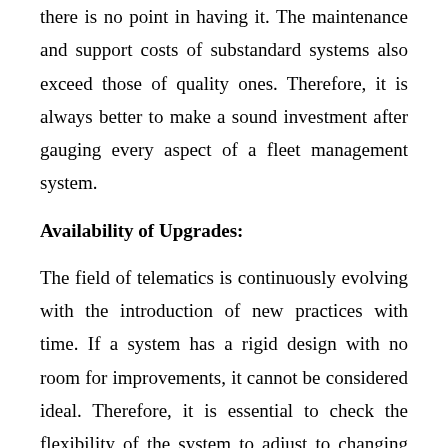there is no point in having it. The maintenance and support costs of substandard systems also exceed those of quality ones. Therefore, it is always better to make a sound investment after gauging every aspect of a fleet management system.
Availability of Upgrades:
The field of telematics is continuously evolving with the introduction of new practices with time. If a system has a rigid design with no room for improvements, it cannot be considered ideal. Therefore, it is essential to check the flexibility of the system to adjust to changing requirements. You can inquire from the software manufacturer that whether they had a vision of the future in mind or not. If they provide regular upgrades to make